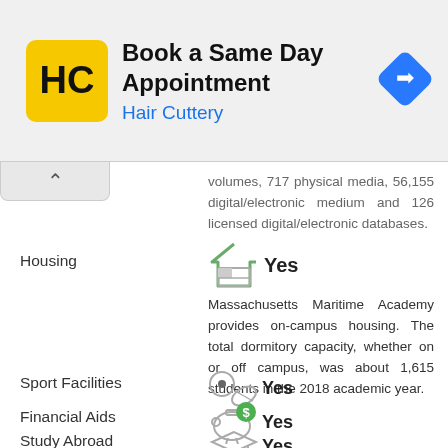[Figure (other): Hair Cuttery advertisement banner with logo, text 'Book a Same Day Appointment' and navigation icon]
volumes, 717 physical media, 56,155 digital/electronic medium and 126 licensed digital/electronic databases.
Housing
[Figure (infographic): House icon with bed icon and Yes text]
Massachusetts Maritime Academy provides on-campus housing. The total dormitory capacity, whether on or off campus, was about 1,615 students in the 2018 academic year.
Sport Facilities
[Figure (infographic): Sports icons (soccer ball and football) with Yes text]
Financial Aids
[Figure (infographic): Piggy bank with dollar sign icon and Yes text]
Study Abroad
[Figure (infographic): Graduation cap with globe icon and Yes text]